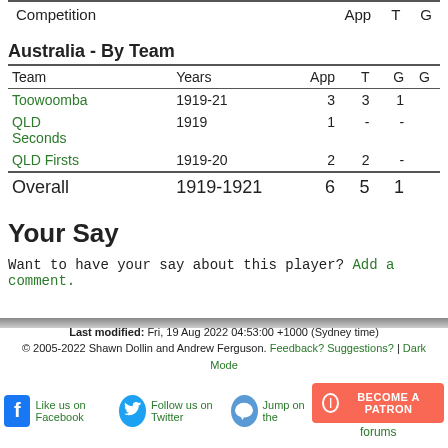| Competition | App | T | G |
| --- | --- | --- | --- |
Australia - By Team
| Team | Years | App | T | G | G |
| --- | --- | --- | --- | --- | --- |
| Toowoomba | 1919-21 | 3 | 3 | 1 |  |
| QLD Seconds | 1919 | 1 | - | - |  |
| QLD Firsts | 1919-20 | 2 | 2 | - |  |
| Overall | 1919-1921 | 6 | 5 | 1 |  |
Your Say
Want to have your say about this player? Add a comment.
Last modified: Fri, 19 Aug 2022 04:53:00 +1000 (Sydney time)
© 2005-2022 Shawn Dollin and Andrew Ferguson. Feedback? Suggestions? | Dark Mode